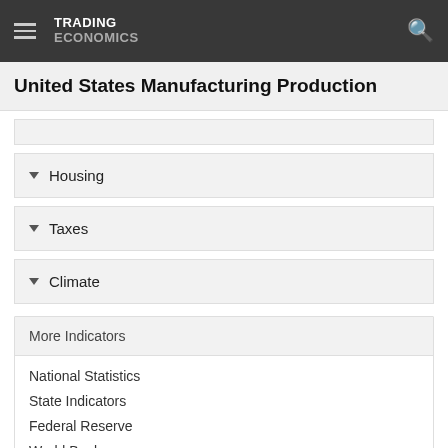TRADING ECONOMICS
United States Manufacturing Production
Housing
Taxes
Climate
More Indicators
National Statistics
State Indicators
Federal Reserve
World Bank